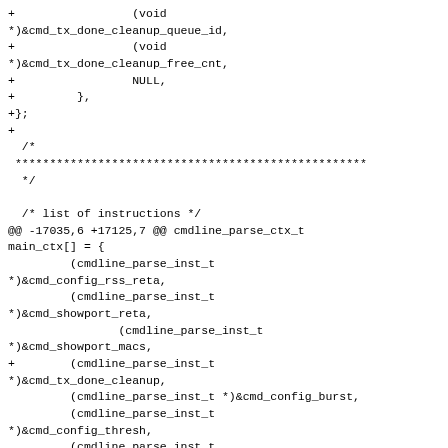+                 (void *)&cmd_tx_done_cleanup_queue_id,
+                 (void *)&cmd_tx_done_cleanup_free_cnt,
+                 NULL,
+         },
+};
+
  /*
 **********************************************************
  */

  /* list of instructions */
@@ -17035,6 +17125,7 @@ cmdline_parse_ctx_t main_ctx[] = {
          (cmdline_parse_inst_t *)&cmd_config_rss_reta,
          (cmdline_parse_inst_t *)&cmd_showport_reta,
                 (cmdline_parse_inst_t *)&cmd_showport_macs,
+         (cmdline_parse_inst_t *)&cmd_tx_done_cleanup,
          (cmdline_parse_inst_t *)&cmd_config_burst,
                 (cmdline_parse_inst_t *)&cmd_config_thresh,
          (cmdline_parse_inst_t *)&cmd_config_threshold,
diff --git a/doc/guides/rel_notes/release_21_05.rst